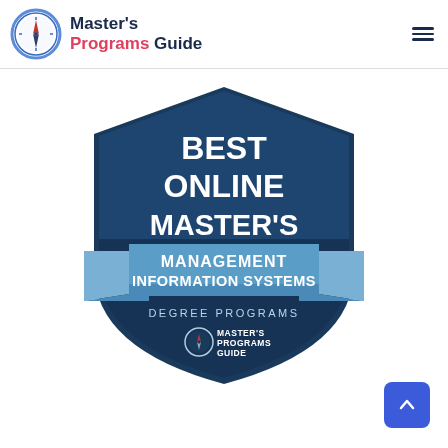Master's Programs Guide
[Figure (logo): Badge reading: BEST ONLINE MASTER'S MANAGEMENT INFORMATION SYSTEMS DEGREE PROGRAMS - Master's Programs Guide]
[Figure (other): Scroll to top button (blue rounded square with upward arrow)]